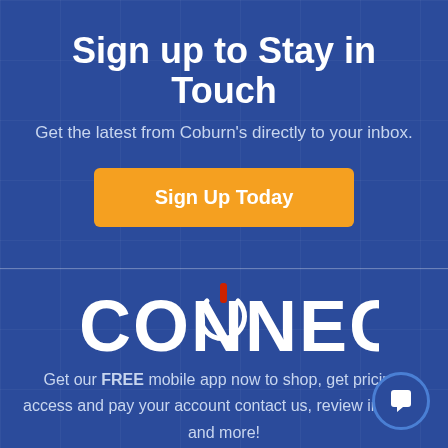Sign up to Stay in Touch
Get the latest from Coburn's directly to your inbox.
[Figure (other): Orange 'Sign Up Today' call-to-action button]
[Figure (logo): CONNECT logo in white bold text with a power icon above the letter O, on a dark blue background]
Get our FREE mobile app now to shop, get pricing, access and pay your account contact us, review invoices and more!